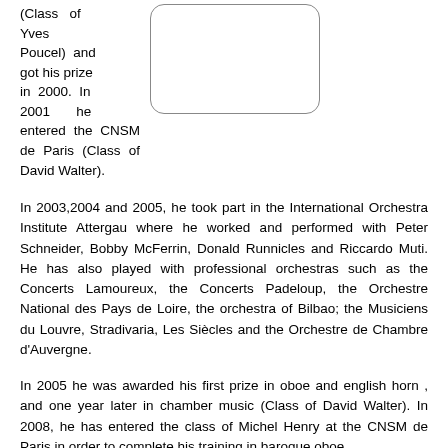(Class of Yves Poucel) and got his prize in 2000. In 2001 he entered the CNSM de Paris (Class of David Walter).
[Figure (photo): Rounded rectangle photo placeholder]
In 2003,2004 and 2005, he took part in the International Orchestra Institute Attergau where he worked and performed with Peter Schneider, Bobby McFerrin, Donald Runnicles and Riccardo Muti. He has also played with professional orchestras such as the Concerts Lamoureux, the Concerts Padeloup, the Orchestre National des Pays de Loire, the orchestra of Bilbao; the Musiciens du Louvre, Stradivaria, Les Siècles and the Orchestre de Chambre d'Auvergne.
In 2005 he was awarded his first prize in oboe and english horn , and one year later in chamber music (Class of David Walter). In 2008, he has entered the class of Michel Henry at the CNSM de Paris in order to complete his training in baroque oboe.
Julien Chabod (clarinet)